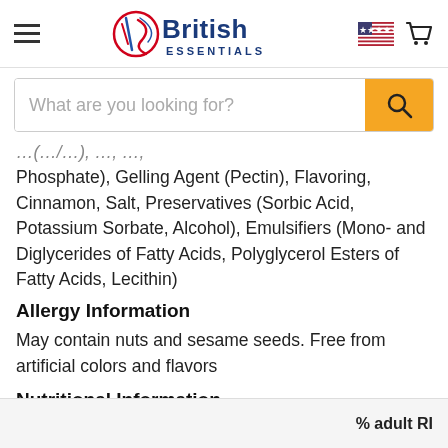British Essentials
Phosphate), Gelling Agent (Pectin), Flavoring, Cinnamon, Salt, Preservatives (Sorbic Acid, Potassium Sorbate, Alcohol), Emulsifiers (Mono- and Diglycerides of Fatty Acids, Polyglycerol Esters of Fatty Acids, Lecithin)
Allergy Information
May contain nuts and sesame seeds. Free from artificial colors and flavors
Nutritional Information
|  | Per | Per | % adult RI |
| --- | --- | --- | --- |